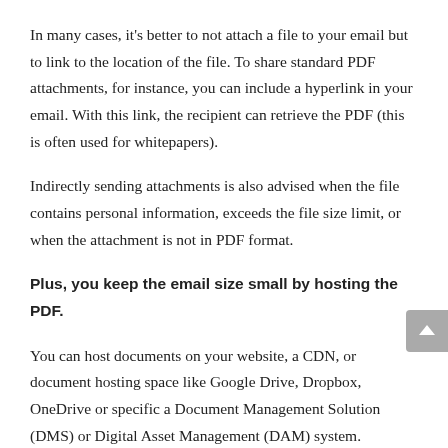In many cases, it's better to not attach a file to your email but to link to the location of the file. To share standard PDF attachments, for instance, you can include a hyperlink in your email. With this link, the recipient can retrieve the PDF (this is often used for whitepapers).
Indirectly sending attachments is also advised when the file contains personal information, exceeds the file size limit, or when the attachment is not in PDF format.
Plus, you keep the email size small by hosting the PDF.
You can host documents on your website, a CDN, or document hosting space like Google Drive, Dropbox, OneDrive or specific a Document Management Solution (DMS) or Digital Asset Management (DAM) system.